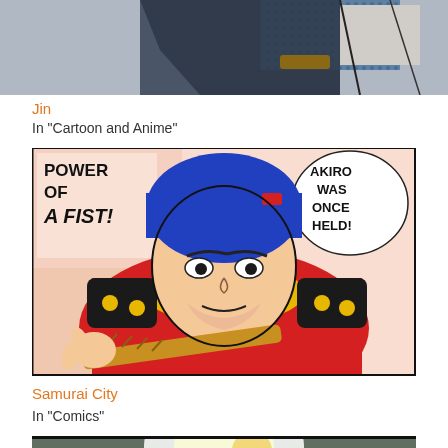[Figure (photo): Top cropped portion of a dark-clad figure (appears to be an anime/cartoon character), blue dotted pattern clothing visible]
Jin
In "Cartoon and Anime"
[Figure (illustration): Comic book panel showing a samurai warrior in red outfit with yellow trim and blue hair, holding a sword. Speech bubble text: 'POWER OF A FIST!' and 'AKIRO WAS ONCE HELD!']
Samurai City
In "Comics"
[Figure (photo): Bottom portion of a third image, partially cut off, showing what appears to be a glowing circular shape against a dark background]